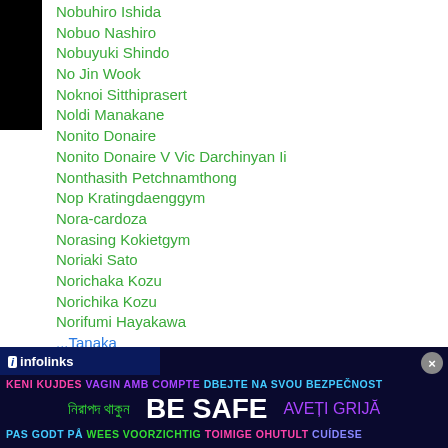Nobuhiro Ishida
Nobuo Nashiro
Nobuyuki Shindo
No Jin Wook
Noknoi Sitthiprasert
Noldi Manakane
Nonito Donaire
Nonito Donaire V Vic Darchinyan Ii
Nonthasith Petchnamthong
Nop Kratingdaenggym
Nora-cardoza
Norasing Kokietgym
Noriaki Sato
Norichaka Kozu
Norichika Kozu
Norifumi Hayakawa
...Tanaka
[Figure (infographic): Dark blue ad banner with infolinks label and multilingual 'BE SAFE' message in various colors and languages including Bengali, English, Romanian, Danish, Dutch, Estonian, and Spanish]